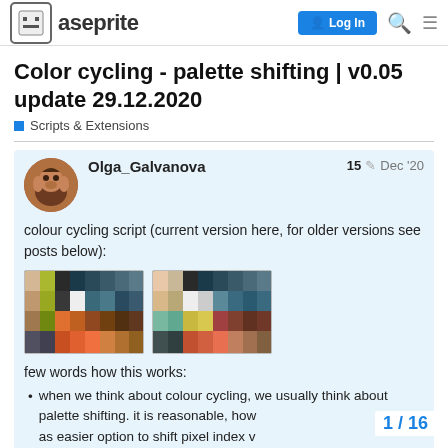Aseprite | Log In
Color cycling - palette shifting | v0.05 update 29.12.2020
Scripts & Extensions
Olga_Galvanova   15  Dec '20
colour cycling script (current version here, for older versions see posts below):
[Figure (illustration): Two pixel art color palette grids showing shifted color sequences]
few words how this works:
when we think about colour cycling, we usually think about palette shifting. it is reasonable, how as easier option to shift pixel index v
1 / 16